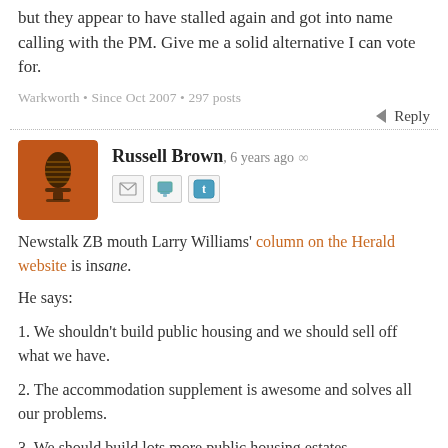but they appear to have stalled again and got into name calling with the PM. Give me a solid alternative I can vote for.
Warkworth • Since Oct 2007 • 297 posts
Reply
[Figure (illustration): Orange avatar with a vintage microphone icon]
Russell Brown, 6 years ago ∞
Newstalk ZB mouth Larry Williams' column on the Herald website is insane.
He says:
1. We shouldn't build public housing and we should sell off what we have.
2. The accommodation supplement is awesome and solves all our problems.
3. We should build lots more public housing estates.
4. The accommodation supplement is out of control and a big problem.